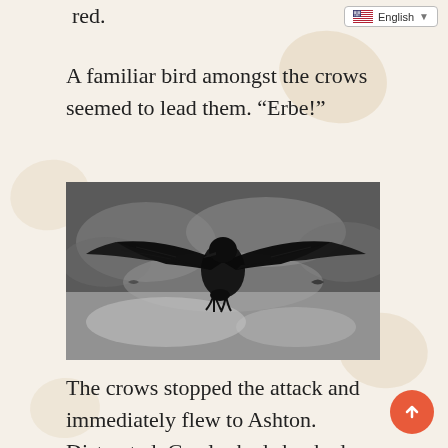red.
English
A familiar bird amongst the crows seemed to lead them. “Erbe!”
[Figure (photo): Black and white photograph of a large crow or raven in flight with wings spread wide, approaching the camera against a dramatic cloudy sky. Two other smaller birds are visible in the background.]
The crows stopped the attack and immediately flew to Ashton. Distracted, Gr looked shocked. “Corbae!” He yelled.